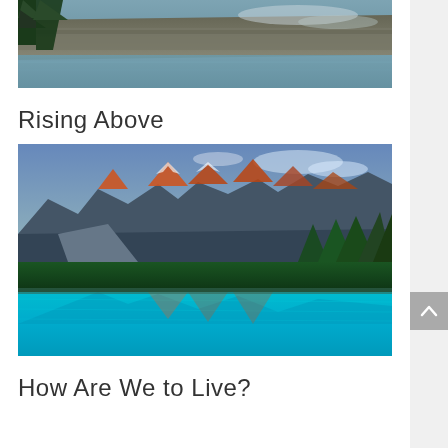[Figure (photo): Partial view of a lake and rocky shoreline with green pine trees, the upper portion of a nature landscape photo]
Rising Above
[Figure (photo): Vibrant HDR landscape photo of Moraine Lake in Banff, Canada, showing red-lit mountain peaks against a blue sky, reflected in turquoise water, with green pine trees on the right]
How Are We to Live?